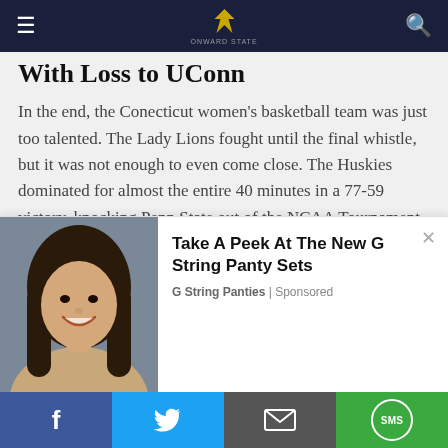Navigation bar with menu icon, logo, and search icon
With Loss to UConn
In the end, the Conecticut women's basketball team was just too talented. The Lady Lions fought until the final whistle, but it was not enough to even come close. The Huskies dominated for almost the entire 40 minutes in a 77-59 victory, knocking Penn State out of the NCAA Tournament.
Lady Lions NCAA Tournament Preview: UC
[Figure (photo): Advertisement showing a woman smiling with text: Take A Peek At The New G String Panty Sets. G String Panties | Sponsored]
Social sharing bar: Facebook, Twitter, Email, SMS